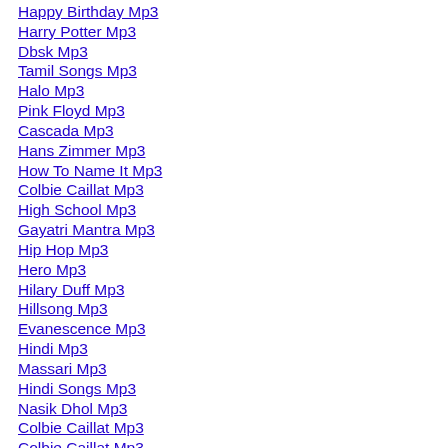Happy Birthday Mp3
Harry Potter Mp3
Dbsk Mp3
Tamil Songs Mp3
Halo Mp3
Pink Floyd Mp3
Cascada Mp3
Hans Zimmer Mp3
How To Name It Mp3
Colbie Caillat Mp3
High School Mp3
Gayatri Mantra Mp3
Hip Hop Mp3
Hero Mp3
Hilary Duff Mp3
Hillsong Mp3
Evanescence Mp3
Hindi Mp3
Massari Mp3
Hindi Songs Mp3
Nasik Dhol Mp3
Colbie Caillat Mp3
Colbie Caillat Mp3
Tired Of Being Sorry Mp3
Hey Ram Jagjit Singh Mp3